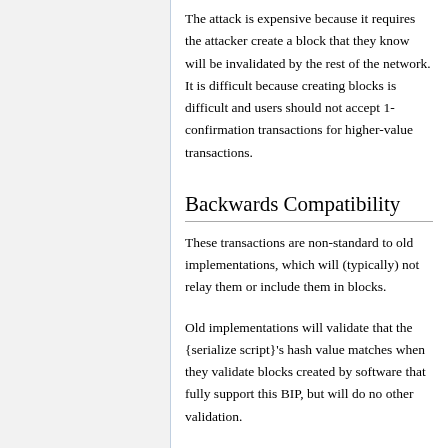The attack is expensive because it requires the attacker create a block that they know will be invalidated by the rest of the network. It is difficult because creating blocks is difficult and users should not accept 1-confirmation transactions for higher-value transactions.
Backwards Compatibility
These transactions are non-standard to old implementations, which will (typically) not relay them or include them in blocks.
Old implementations will validate that the {serialize script}'s hash value matches when they validate blocks created by software that fully support this BIP, but will do no other validation.
Avoiding a block-chain split by malicious...